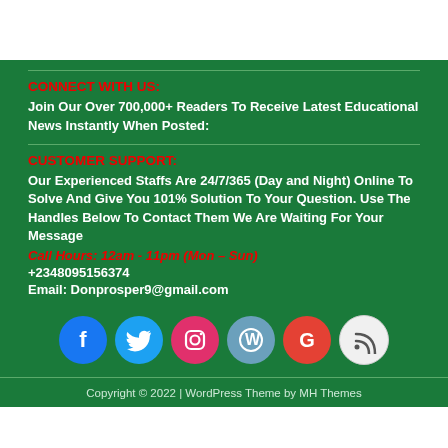CONNECT WITH US:
Join Our Over 700,000+ Readers To Receive Latest Educational News Instantly When Posted:
CUSTOMER SUPPORT:
Our Experienced Staffs Are 24/7/365 (Day and Night) Online To Solve And Give You 101% Solution To Your Question. Use The Handles Below To Contact Them We Are Waiting For Your Message
Call Hours: 12am - 11pm (Mon – Sun)
+2348095156374
Email: Donprosper9@gmail.com
[Figure (illustration): Row of 6 social media icon circles: Facebook (blue), Twitter (blue), Instagram (pink/red), WordPress (steel blue), Google (red), RSS (white/grey)]
Copyright © 2022 | WordPress Theme by MH Themes